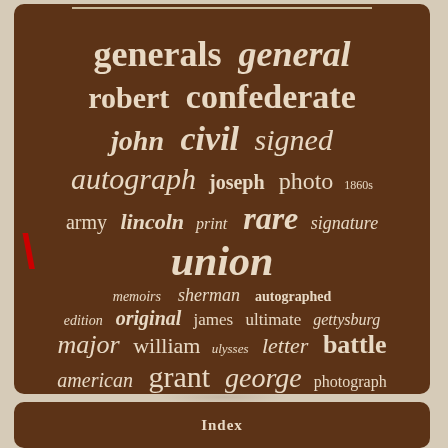[Figure (infographic): Word cloud on brown background featuring Civil War-related terms. Words include: generals, general, robert, confederate, john, civil, signed, autograph, joseph, photo, 1860s, army, lincoln, print, rare, signature, union, memoirs, sherman, autographed, edition, original, james, ultimate, gettysburg, major, william, ulysses, letter, battle, american, grant, george, photograph, antique. A red backslash character appears on the left side.]
Index